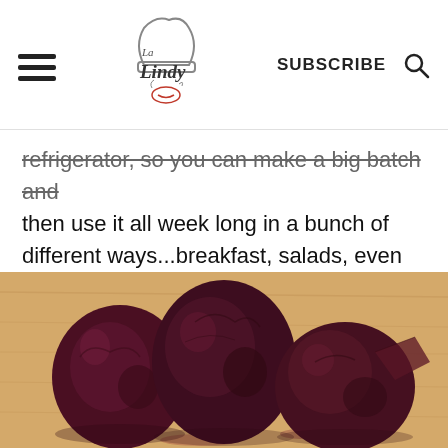La Lindy logo, SUBSCRIBE, search icon
refrigerator, so you can make a big batch and then use it all week long in a bunch of different ways...breakfast, salads, even dessert.
[Figure (photo): Three dark red/purple roasted beets sitting on a wooden cutting board, with some beet juice stains visible.]